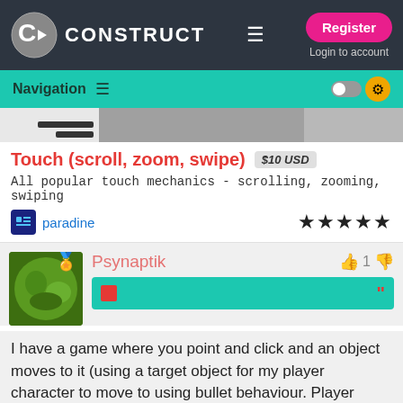CONSTRUCT — Register / Login to account / Navigation
[Figure (screenshot): Partial game preview image strip with dark bars on left and grey areas]
Touch (scroll, zoom, swipe) $10 USD
All popular touch mechanics - scrolling, zooming, swiping
paradine ★★★★★
Psynaptik 👍 1 👎
I have a game where you point and click and an object moves to it (using a target object for my player character to move to using bullet behaviour. Player stops when it hits target until the next click is made).